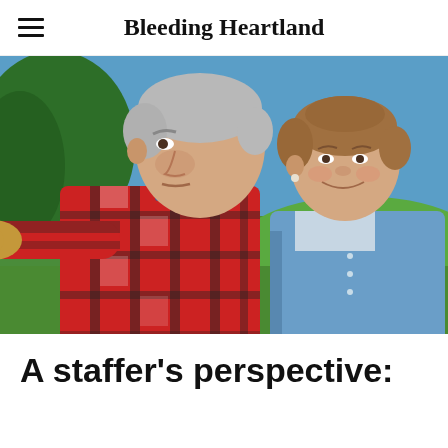Bleeding Heartland
[Figure (photo): An older man in a red and black plaid flannel shirt with work gloves, gesturing with his arm extended, standing outdoors in front of green grass and trees with a blue sky. A woman with short brown hair in a blue cardigan stands behind him, smiling.]
A staffer's perspective: